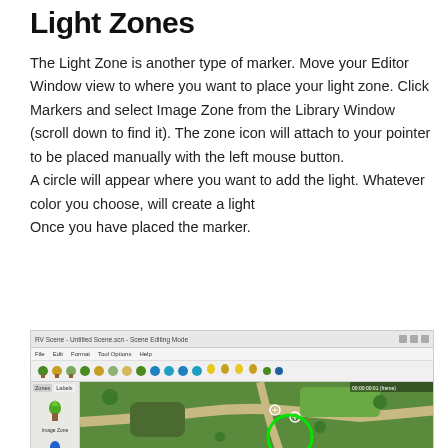Light Zones
The Light Zone is another type of marker. Move your Editor Window view to where you want to place your light zone. Click Markers and select Image Zone from the Library Window (scroll down to find it). The zone icon will attach to your pointer to be placed manually with the left mouse button.
A circle will appear where you want to add the light. Whatever color you choose, will create a light
Once you have placed the marker.
[Figure (screenshot): Screenshot of a map editor application showing a top-down aerial view of a park area with a green circular marker overlay indicating a light zone placement]